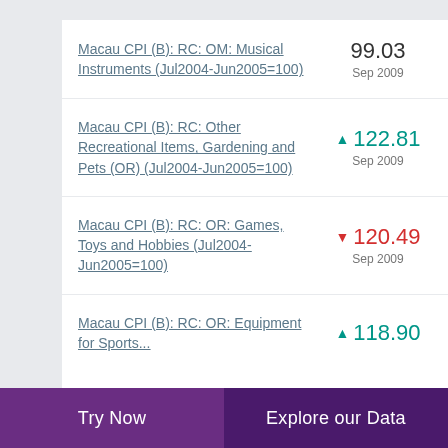Macau CPI (B): RC: OM: Musical Instruments (Jul2004-Jun2005=100)
Macau CPI (B): RC: Other Recreational Items, Gardening and Pets (OR) (Jul2004-Jun2005=100)
Macau CPI (B): RC: OR: Games, Toys and Hobbies (Jul2004-Jun2005=100)
Macau CPI (B): RC: OR: Equipment for Sports...
Try Now | Explore our Data